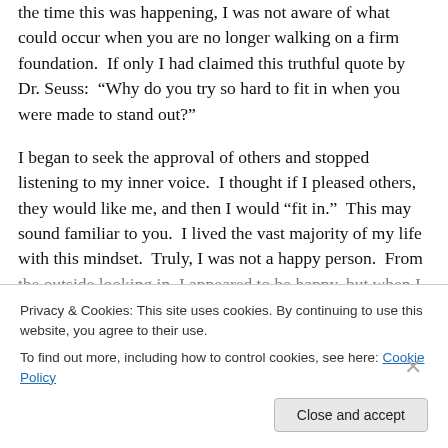the time this was happening, I was not aware of what could occur when you are no longer walking on a firm foundation.  If only I had claimed this truthful quote by Dr. Seuss:  "Why do you try so hard to fit in when you were made to stand out?"
I began to seek the approval of others and stopped listening to my inner voice.  I thought if I pleased others, they would like me, and then I would “fit in.”  This may sound familiar to you.  I lived the vast majority of my life with this mindset.  Truly, I was not a happy person.  From the outside looking in, I appeared to be happy, but when I
Privacy & Cookies: This site uses cookies. By continuing to use this website, you agree to their use.
To find out more, including how to control cookies, see here: Cookie Policy